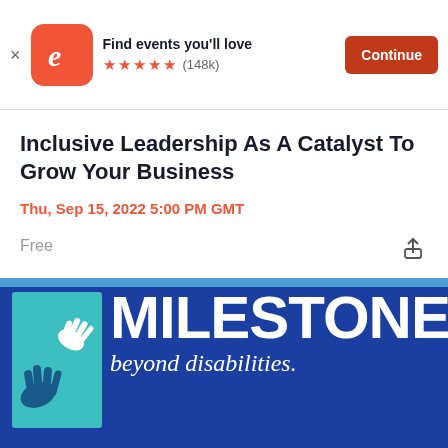[Figure (screenshot): Eventbrite app banner with orange rounded-square logo, 'Find events you'll love', 5 orange stars, (148k) reviews, and an orange 'Continue' button]
Inclusive Leadership As A Catalyst To Grow Your Business
Thu, Sep 15, 2022 5:00 PM GMT
Free
[Figure (logo): Milestone 'beyond disabilities' logo — dark blue background with light blue top stripe, teal box with white hand prints on left, large white bold 'MILESTONE' text, italic white 'beyond disabilities' tagline]